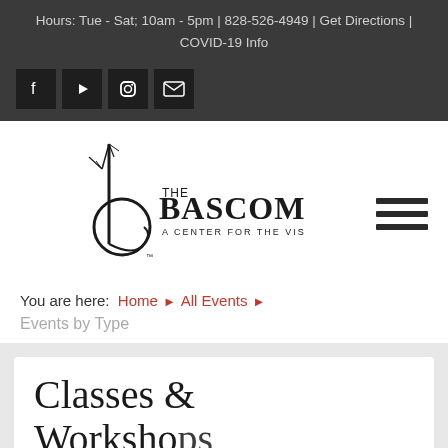Hours: Tue - Sat; 10am - 5pm | 828-526-4949 | Get Directions | COVID-19 Info
[Figure (logo): Social media icons: Facebook, YouTube, Instagram, Email]
[Figure (logo): The Bascom - A Center for the Visual Arts logo with stylized b and tree]
You are here: Home › All Events ›
Events by Type
Classes & Workshops